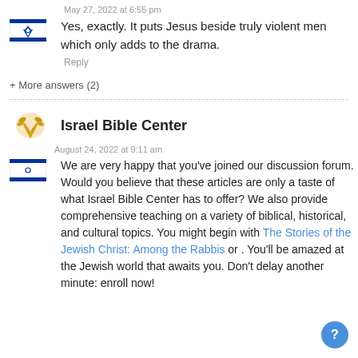May 27, 2022 at 6:55 pm
Yes, exactly. It puts Jesus beside truly violent men which only adds to the drama.
Reply
+ More answers (2)
Israel Bible Center
August 24, 2022 at 9:11 am
We are very happy that you've joined our discussion forum. Would you believe that these articles are only a taste of what Israel Bible Center has to offer? We also provide comprehensive teaching on a variety of biblical, historical, and cultural topics. You might begin with The Stories of the Jewish Christ: Among the Rabbis or . You'll be amazed at the Jewish world that awaits you. Don't delay another minute: enroll now!